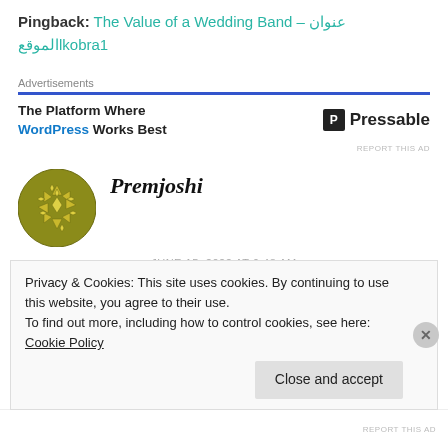Pingback: The Value of a Wedding Band – عنوان الموقعlkobra1
[Figure (other): Advertisement banner: 'The Platform Where WordPress Works Best' with Pressable logo]
[Figure (illustration): Olive/gold geometric mandala avatar for user Premjoshi]
Premjoshi
JUNE 15, 2022 AT 9:48 AM
https://purebeautyofworld.wordpress.com/
Privacy & Cookies: This site uses cookies. By continuing to use this website, you agree to their use.
To find out more, including how to control cookies, see here: Cookie Policy
Close and accept